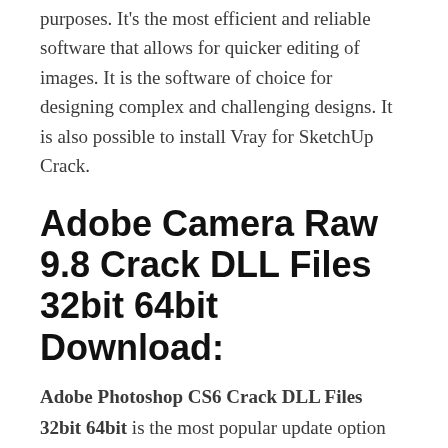purposes. It's the most efficient and reliable software that allows for quicker editing of images. It is the software of choice for designing complex and challenging designs. It is also possible to install Vray for SketchUp Crack.
Adobe Camera Raw 9.8 Crack DLL Files 32bit 64bit Download:
Adobe Photoshop CS6 Crack DLL Files 32bit 64bit is the most popular update option available for Adobe Photoshop Creative Suite 6 for Windows. This update is free to users who have used a photo editor on their devices. The CS6 update addresses several issues and offers stability and performance enhancements. Additionally, it includes new tools and features to make editing easier to create faster, more efficient images.